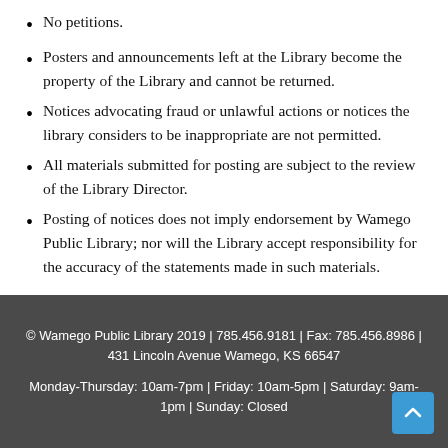No petitions.
Posters and announcements left at the Library become the property of the Library and cannot be returned.
Notices advocating fraud or unlawful actions or notices the library considers to be inappropriate are not permitted.
All materials submitted for posting are subject to the review of the Library Director.
Posting of notices does not imply endorsement by Wamego Public Library; nor will the Library accept responsibility for the accuracy of the statements made in such materials.
© Wamego Public Library 2019 | 785.456.9181 | Fax: 785.456.8986 | 431 Lincoln Avenue Wamego, KS 66547
Monday-Thursday: 10am-7pm | Friday: 10am-5pm | Saturday: 9am-1pm | Sunday: Closed